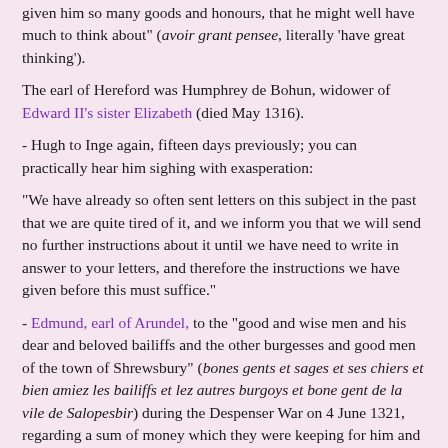given him so many goods and honours, that he might well have much to think about" (avoir grant pensee, literally 'have great thinking').
The earl of Hereford was Humphrey de Bohun, widower of Edward II's sister Elizabeth (died May 1316).
- Hugh to Inge again, fifteen days previously; you can practically hear him sighing with exasperation:
"We have already so often sent letters on this subject in the past that we are quite tired of it, and we inform you that we will send no further instructions about it until we have need to write in answer to your letters, and therefore the instructions we have given before this must suffice."
- Edmund, earl of Arundel, to the "good and wise men and his dear and beloved bailiffs and the other burgesses and good men of the town of Shrewsbury" (bones gents et sages et ses chiers et bien amiez les bailiffs et lez autres burgoys et bone gent de la vile de Salopesbir) during the Despenser War on 4 June 1321, regarding a sum of money which they were keeping for him and which he evidently suspected his cousin Roger Mortimer of Wigmore of